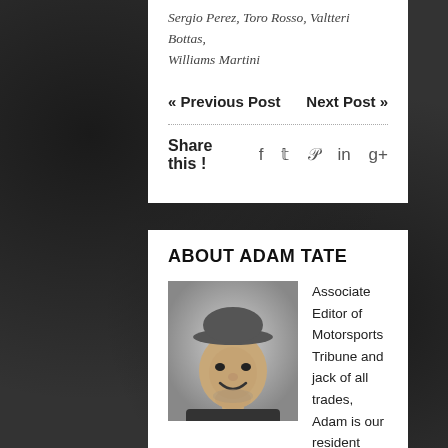Sergio Perez, Toro Rosso, Valtteri Bottas, Williams Martini
« Previous Post   Next Post »
Share this !   f   𝕥   𝕡   in   g+
ABOUT ADAM TATE
[Figure (photo): Black and white headshot photo of Adam Tate, a man wearing a cap, smiling]
Associate Editor of Motorsports Tribune and jack of all trades, Adam is our resident Formula 1 expert. He has covered F1, IndyCar, WEC, IMSA, NASCAR, PWC and more. His work has been featured on multiple outlets including AutoWeek and Motorsport.com. A MT Co-founder, Adam has been with us since the beginning when he and Joey created Tribute Racing back in 2012. When not at